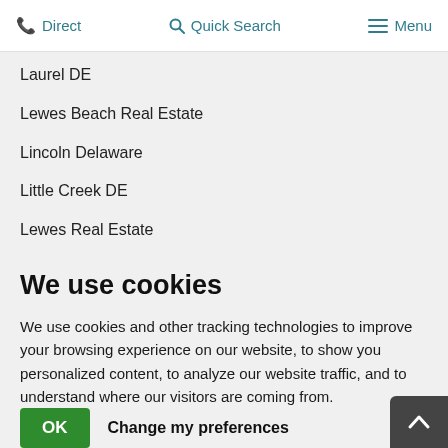Direct  Quick Search  Menu
Laurel DE
Lewes Beach Real Estate
Lincoln Delaware
Little Creek DE
Lewes Real Estate
We use cookies
We use cookies and other tracking technologies to improve your browsing experience on our website, to show you personalized content, to analyze our website traffic, and to understand where our visitors are coming from.
OK  Change my preferences